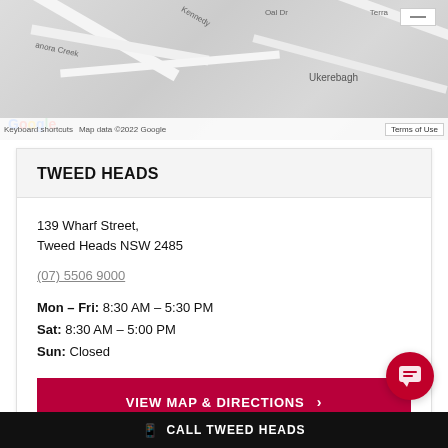[Figure (map): Google Maps screenshot showing Tweed Heads area with roads and Ukerebagh label, with Google logo and map attribution bar]
TWEED HEADS
139 Wharf Street,
Tweed Heads NSW 2485
(07) 5506 9000
Mon – Fri: 8:30 AM – 5:30 PM
Sat: 8:30 AM – 5:00 PM
Sun: Closed
VIEW MAP & DIRECTIONS >
CALL TWEED HEADS